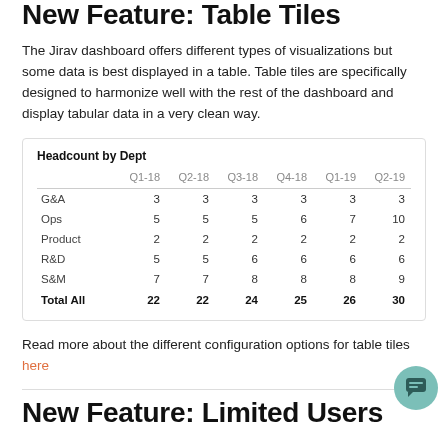New Feature: Table Tiles
The Jirav dashboard offers different types of visualizations but some data is best displayed in a table. Table tiles are specifically designed to harmonize well with the rest of the dashboard and display tabular data in a very clean way.
|  | Q1-18 | Q2-18 | Q3-18 | Q4-18 | Q1-19 | Q2-19 |
| --- | --- | --- | --- | --- | --- | --- |
| G&A | 3 | 3 | 3 | 3 | 3 | 3 |
| Ops | 5 | 5 | 5 | 6 | 7 | 10 |
| Product | 2 | 2 | 2 | 2 | 2 | 2 |
| R&D | 5 | 5 | 6 | 6 | 6 | 6 |
| S&M | 7 | 7 | 8 | 8 | 8 | 9 |
| Total All | 22 | 22 | 24 | 25 | 26 | 30 |
Read more about the different configuration options for table tiles here
New Feature: Limited Users